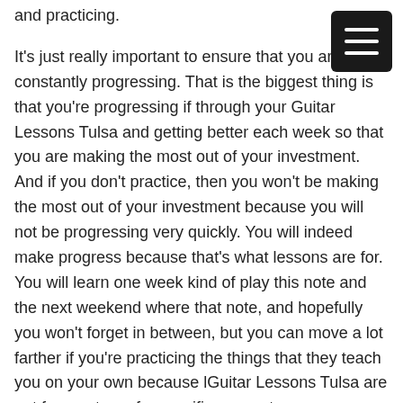and practicing.

It's just really important to ensure that you are constantly progressing. That is the biggest thing is that you're progressing if through your Guitar Lessons Tulsa and getting better each week so that you are making the most out of your investment. And if you don't practice, then you won't be making the most out of your investment because you will not be progressing very quickly. You will indeed make progress because that's what lessons are for. You will learn one week kind of play this note and the next weekend where that note, and hopefully you won't forget in between, but you can move a lot farther if you're practicing the things that they teach you on your own because lGuitar Lessons Tulsa are not for mastery of a specific concept.

They're not, or you just play the same song over and over and over again until you get it right. They are
[Figure (other): Hamburger menu button — black rounded square with three white horizontal lines]